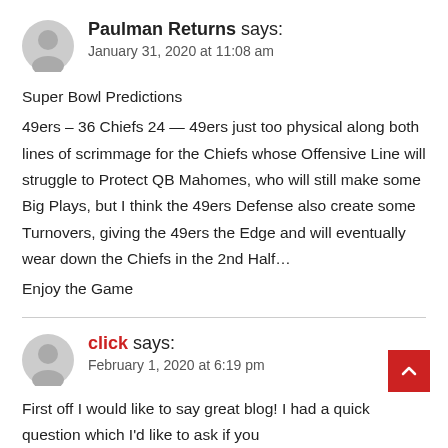Paulman Returns says:
January 31, 2020 at 11:08 am
Super Bowl Predictions
49ers – 36 Chiefs 24 — 49ers just too physical along both lines of scrimmage for the Chiefs whose Offensive Line will struggle to Protect QB Mahomes, who will still make some Big Plays, but I think the 49ers Defense also create some Turnovers, giving the 49ers the Edge and will eventually wear down the Chiefs in the 2nd Half…
Enjoy the Game
click says:
February 1, 2020 at 6:19 pm
First off I would like to say great blog! I had a quick question which I'd like to ask if you